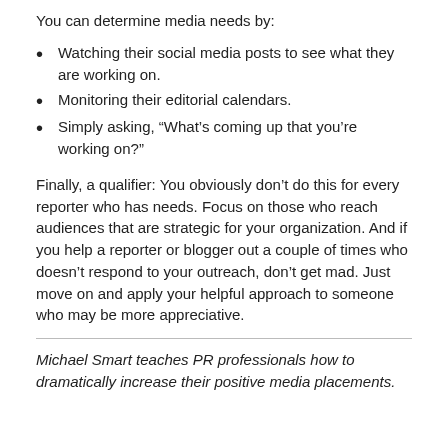You can determine media needs by:
Watching their social media posts to see what they are working on.
Monitoring their editorial calendars.
Simply asking, “What’s coming up that you’re working on?”
Finally, a qualifier: You obviously don’t do this for every reporter who has needs. Focus on those who reach audiences that are strategic for your organization. And if you help a reporter or blogger out a couple of times who doesn’t respond to your outreach, don’t get mad. Just move on and apply your helpful approach to someone who may be more appreciative.
Michael Smart teaches PR professionals how to dramatically increase their positive media placements.